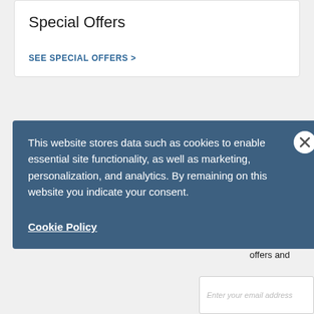Special Offers
SEE SPECIAL OFFERS >
ys and
s
offers and
This website stores data such as cookies to enable essential site functionality, as well as marketing, personalization, and analytics. By remaining on this website you indicate your consent.
Cookie Policy
Enter your email address